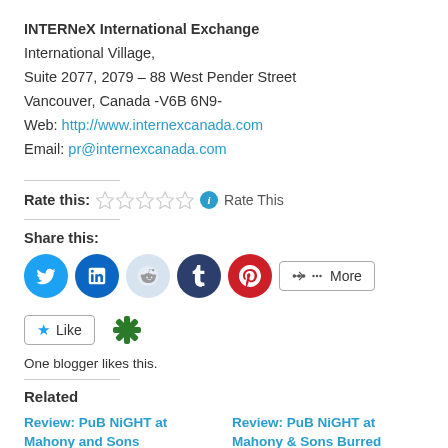INTERNeX International Exchange
International Village,
Suite 2077, 2079 – 88 West Pender Street
Vancouver, Canada -V6B 6N9-
Web: http://www.internexcanada.com
Email: pr@internexcanada.com
Rate this: ☆☆☆☆☆ ℹ Rate This
Share this:
[Figure (infographic): Social share buttons: Twitter, LinkedIn, Reddit, Tumblr, Pinterest, and a More button]
[Figure (infographic): Like button with star icon and a blogger avatar icon. Text: One blogger likes this.]
Related
Review: PuB NiGHT at Mahony and Sons
Review: PuB NiGHT at Mahony & Sons Burred Landing